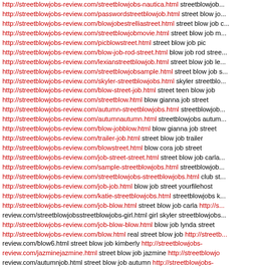http://streetblowjobs-review.com/streetblowjobs-nautica.html streetblowjobs nautica
http://streetblowjobs-review.com/passwordstreetblowjob.html street blow j...
http://streetblowjobs-review.com/blowjobestrelliastreet.html street blow job e...
http://streetblowjobs-review.com/streetblowjobmovie.html street blow job m...
http://streetblowjobs-review.com/picblowstreet.html street blow job pic
http://streetblowjobs-review.com/blow-job-rod-street.html blow job rod stre...
http://streetblowjobs-review.com/lexianstreetblowjob.html street blow job le...
http://streetblowjobs-review.com/streetblowjobsample.html street blow job s...
http://streetblowjobs-review.com/skyler-streetblowjobs.html skyler streetblo...
http://streetblowjobs-review.com/blow-street-job.html street teen blow job
http://streetblowjobs-review.com/streetblow.html blow gianna job street
http://streetblowjobs-review.com/autumn-streetblowjobs.html streetblowjob...
http://streetblowjobs-review.com/autumnautumn.html streetblowjobs autum...
http://streetblowjobs-review.com/blow-jobblow.html blow gianna job street
http://streetblowjobs-review.com/trailer-job.html street blow job trailer
http://streetblowjobs-review.com/blowstreet.html blow cora job street
http://streetblowjobs-review.com/job-street-street.html street blow job carla
http://streetblowjobs-review.com/sample-streetblowjobs.html streetblowjobs...
http://streetblowjobs-review.com/streetblowjobs-streetblowjobs.html club st...
http://streetblowjobs-review.com/job-job.html blow job street yourfilehost
http://streetblowjobs-review.com/katie-streetblowjobs.html streetblowjobs k...
http://streetblowjobs-review.com/job-blow.html street blow job carla http://s... review.com/streetblowjobsstreetblowjobs-girl.html girl skyler streetblowjobs
http://streetblowjobs-review.com/job-blow-blow.html blow job lynda street
http://streetblowjobs-review.com/blow.html real street blow job http://streetb... review.com/blow6.html street blow job kimberly http://streetblowjobs-review.com/jazminejazmine.html street blow job jazmine http://streetblowjo review.com/autumnjob.html street blow job autumn http://streetblowjobs-review.com/blowwhore.html street blow job whore http://streetblowjobs-review.com/blow1.html street blow job http://streetblowjobs-review.com/mic street blow job michelle http://streetblowjobs-review.com/job.html blow job
http://streetblowjobs-review.com/sage-sage.html streetblowjobs sage
http://streetblowjobs-review.com/free-street-blow-job-pic.html free street bl...
http://streetblowjobs-review.com/street-blow-job-movie.html street blow job...
http://streetblowjobs-review.com/street-blow-job-detroit.html street blow job...
http://streetblowjobs-review.com/blow-job-nadia-street.html blow job nadia
http://streetblowjobs-review.com/street-blow-job-password.html street blo...